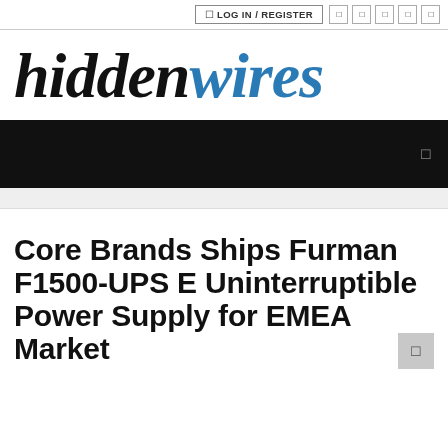LOG IN / REGISTER
[Figure (logo): hiddenwires website logo in black and blue italic serif font]
[Figure (screenshot): Black navigation banner with right-pointing arrow icon]
Core Brands Ships Furman F1500-UPS E Uninterruptible Power Supply for EMEA Market